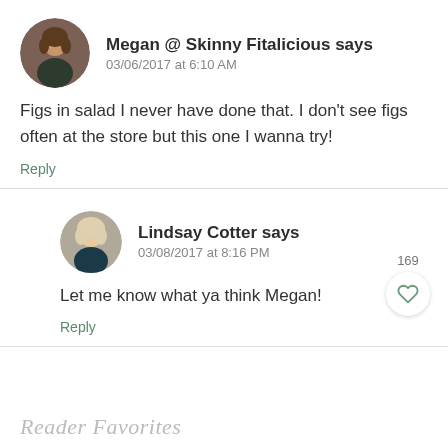Megan @ Skinny Fitalicious says
03/06/2017 at 6:10 AM
Figs in salad I never have done that. I don't see figs often at the store but this one I wanna try!
Reply
Lindsay Cotter says
03/08/2017 at 8:16 PM
Let me know what ya think Megan!
Reply
Reader Favorites